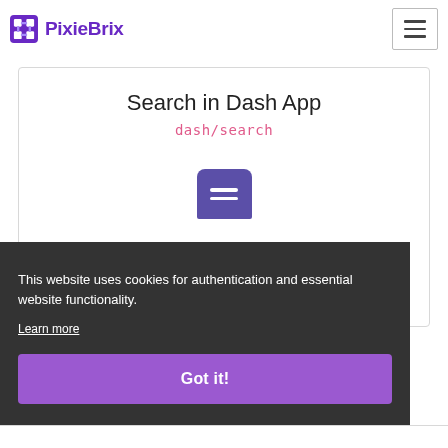PixieBrix
Search in Dash App
dash/search
[Figure (illustration): Purple rounded rectangle icon with two white horizontal lines (hamburger/menu icon)]
This website uses cookies for authentication and essential website functionality.
Learn more
Got it!